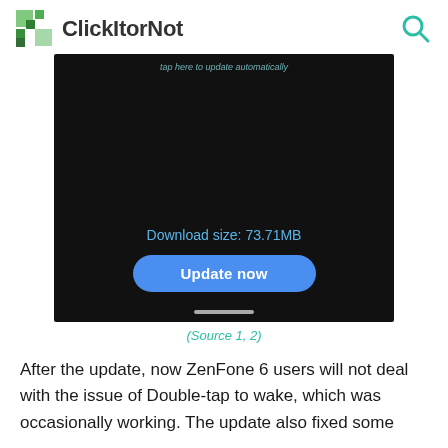ClickItorNot
[Figure (screenshot): Android phone screenshot showing a dark system update screen with text 'Download size: 73.71MB' and a blue rounded 'Update now' button, with a home indicator bar at the bottom.]
(Source 1, 2)
After the update, now ZenFone 6 users will not deal with the issue of Double-tap to wake, which was occasionally working. The update also fixed some